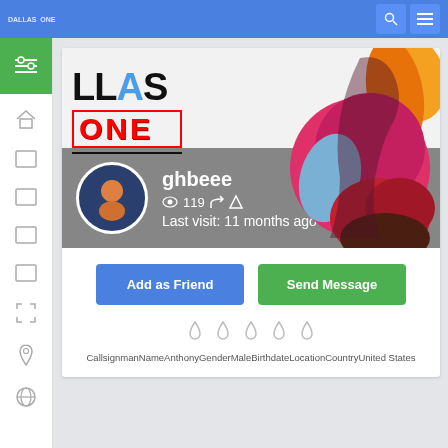[Figure (screenshot): Top navigation bar with blue background, logo on left, search and menu icons on right]
[Figure (screenshot): Left sidebar with green filter icon and navigation icons]
[Figure (screenshot): Profile banner with LLAS ONE logo text and colorful silhouette illustration]
[Figure (screenshot): User avatar circle with orange person icon on dark blue background]
ghbeee
119
Last visit: 11 months ago
Add as Friend
Send Message
CallsignmanNameAnthonyGenderMaleBirthdateLocationCountryUnited States